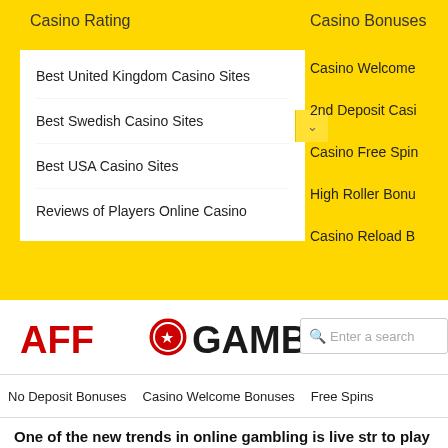Casino Rating
Casino Bonuses
Best United Kingdom Casino Sites
Best Swedish Casino Sites
Best USA Casino Sites
Reviews of Players Online Casino
Casino Welcome
2nd Deposit Casi
Casino Free Spin
High Roller Bonu
Casino Reload B
[Figure (logo): AFF GAMBLER logo with red poker chip icon between AFF and GAMBLER text]
Enter a search
No Deposit Bonuses   Casino Welcome Bonuses   Free Spins
One of the new trends in online gambling is live str’ to play casino games. It’s fun, interactive, but can é